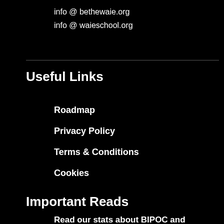info @ bethewaie.org
info @ waieschool.org
Useful Links
Roadmap
Privacy Policy
Terms & Conditions
Cookies
Important Reads
Read our stats about BIPOC and Entrepreneurial education